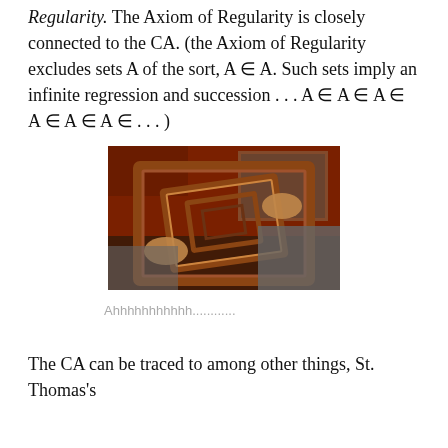Regularity. The Axiom of Regularity is closely connected to the CA. (the Axiom of Regularity excludes sets A of the sort, A ∈ A. Such sets imply an infinite regression and succession . . . A ∈ A ∈ A ∈ A ∈ A ∈ A ∈ . . . )
[Figure (photo): Person holding a picture frame in front of their face, with the frame containing a recursive smaller version of the same image, creating an infinite regression effect. Red/orange background.]
Ahhhhhhhhhhh............
The CA can be traced to among other things, St. Thomas's